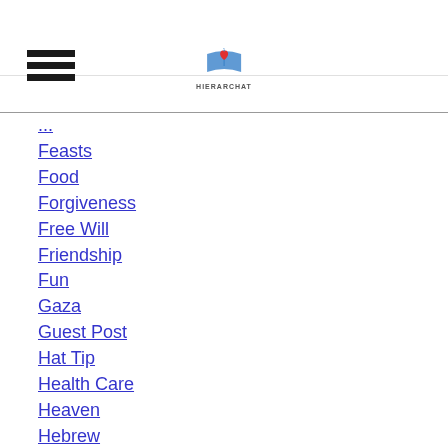Hierarchat navigation header with hamburger menu and logo
Feasts
Food
Forgiveness
Free Will
Friendship
Fun
Gaza
Guest Post
Hat Tip
Health Care
Heaven
Hebrew
Hhs
Holy Week
Homeschooling
Homily
Homosexuality
Illumination